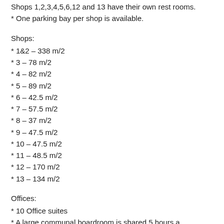Shops 1,2,3,4,5,6,12 and 13 have their own rest rooms.
* One parking bay per shop is available.
Shops:
* 1&2 – 338 m/2
* 3 – 78 m/2
* 4 – 82 m/2
* 5 – 89 m/2
* 6 – 42.5 m/2
* 7 – 57.5 m/2
* 8 – 37 m/2
* 9 – 47.5 m/2
* 10 – 47.5 m/2
* 11 – 48.5 m/2
* 12 – 170 m/2
* 13 – 134 m/2
Offices:
* 10 Office suites
* A large communal boardroom is shared 5 hours a